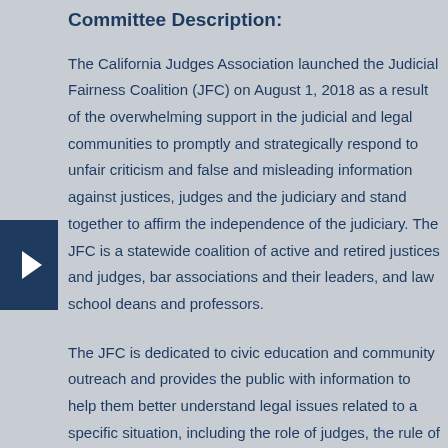Committee Description:
The California Judges Association launched the Judicial Fairness Coalition (JFC) on August 1, 2018 as a result of the overwhelming support in the judicial and legal communities to promptly and strategically respond to unfair criticism and false and misleading information against justices, judges and the judiciary and stand together to affirm the independence of the judiciary. The JFC is a statewide coalition of active and retired justices and judges, bar associations and their leaders, and law school deans and professors.
The JFC is dedicated to civic education and community outreach and provides the public with information to help them better understand legal issues related to a specific situation, including the role of judges, the rule of